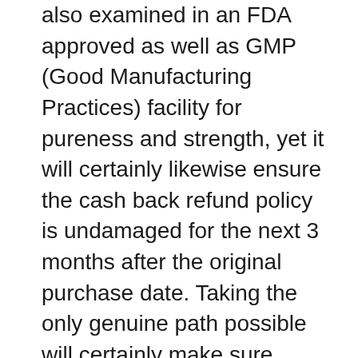also examined in an FDA approved as well as GMP (Good Manufacturing Practices) facility for pureness and strength, yet it will certainly likewise ensure the cash back refund policy is undamaged for the next 3 months after the original purchase date. Taking the only genuine path possible will certainly make sure there are no negative adverse effects when consuming Okinawa Flat Belly Tonic daily as well. The official merchant system for Okinawa Flat Belly Tonic is Clickbank, among the most reputable marketplaces on the planet that has actually stayed in business for more than a decade taking place 2 as well as is an user-friendly, customer-centric company that constantly honors the money back guarantee as well as reimbursement plan of the products